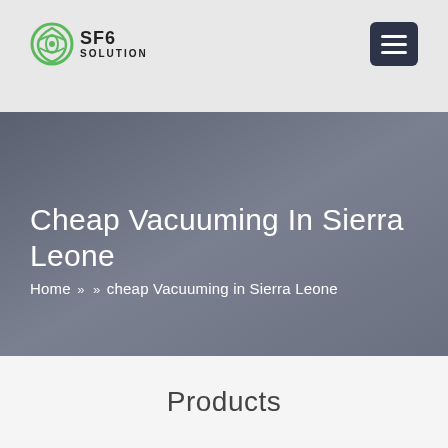SF6 SOLUTION
Cheap Vacuuming In Sierra Leone
Home » » cheap Vacuuming in Sierra Leone
Products